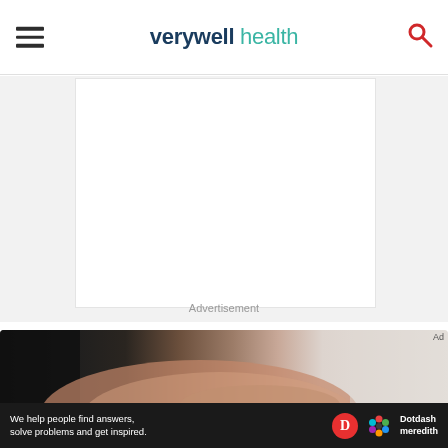verywell health
[Figure (other): Advertisement placeholder area — white rectangle on light gray background with 'Advertisement' label]
[Figure (photo): Photo of a pregnant woman in a black top, hands cradling belly, blurred background]
Ad
We help people find answers, solve problems and get inspired. Dotdash meredith